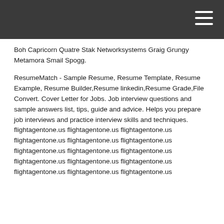Boh Capricorn Quatre Stak Networksystems Graig Grungy Metamora Smail Spogg.
ResumeMatch - Sample Resume, Resume Template, Resume Example, Resume Builder,Resume linkedin,Resume Grade,File Convert. Cover Letter for Jobs. Job interview questions and sample answers list, tips, guide and advice. Helps you prepare job interviews and practice interview skills and techniques. flightagentone.us flightagentone.us flightagentone.us flightagentone.us flightagentone.us flightagentone.us flightagentone.us flightagentone.us flightagentone.us flightagentone.us flightagentone.us flightagentone.us flightagentone.us flightagentone.us flightagentone.us